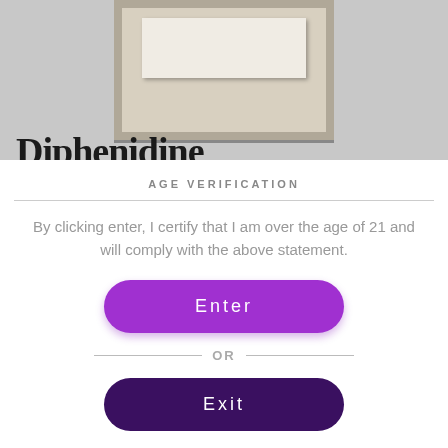[Figure (photo): Partial photo of a product package/box visible at the top of the page, with a grey background]
Diphenidine
AGE VERIFICATION
By clicking enter, I certify that I am over the age of 21 and will comply with the above statement.
Enter
OR
Exit